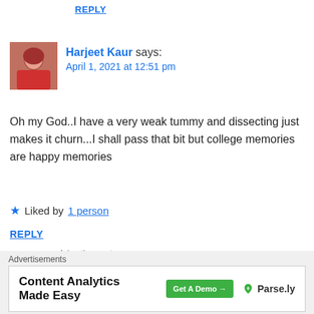REPLY
Harjeet Kaur says:
April 1, 2021 at 12:51 pm
Oh my God..I have a very weak tummy and dissecting just makes it churn...I shall pass that bit but college memories are happy memories
★ Liked by 1 person
REPLY
Advertisements
[Figure (screenshot): Blue advertisement banner with white bold text 'When your WordPress site']
Advertisements
[Figure (screenshot): Advertisement banner: Content Analytics Made Easy - Get A Demo button - Parse.ly logo]